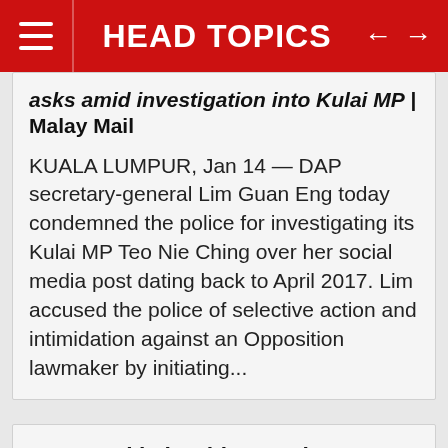HEAD TOPICS
asks amid investigation into Kulai MP | Malay Mail
KUALA LUMPUR, Jan 14 — DAP secretary-general Lim Guan Eng today condemned the police for investigating its Kulai MP Teo Nie Ching over her social media post dating back to April 2017. Lim accused the police of selective action and intimidation against an Opposition lawmaker by initiating...
Azam Baki should go on leave while under investigation, Rais says | The Malaysian Insight